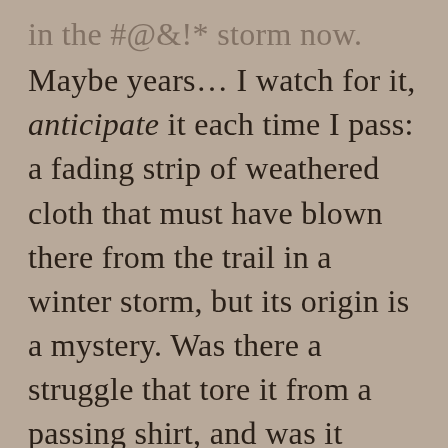Maybe years… I watch for it, anticipate it each time I pass: a fading strip of weathered cloth that must have blown there from the trail in a winter storm, but its origin is a mystery. Was there a struggle that tore it from a passing shirt, and was it missed, or, appreciative of the escape, ceded to the nearest bush as a thankful